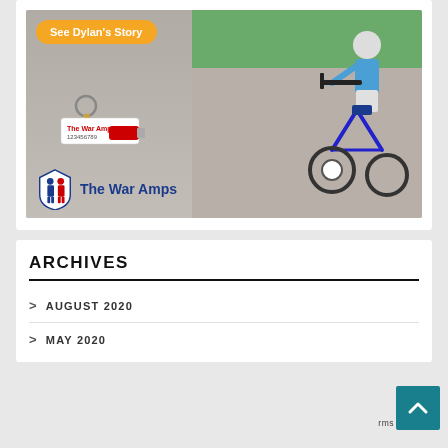[Figure (photo): The War Amps advertisement showing a child on an adaptive tricycle, a key fob tag, and The War Amps logo with text. Orange button reads 'See Dylan's Story'.]
ARCHIVES
> AUGUST 2020
> MAY 2020